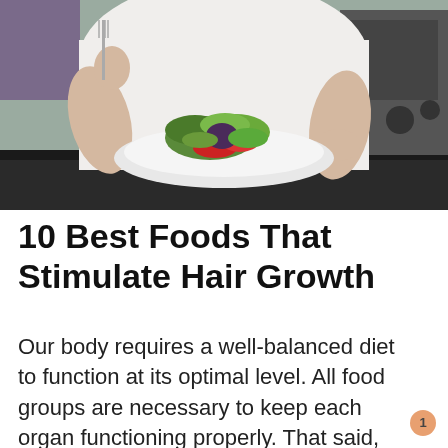[Figure (photo): A woman in a white top sitting at a kitchen counter, holding a fork over a white plate with a colorful salad containing red peppers, green lettuce and purple vegetables. Kitchen appliances visible in background.]
10 Best Foods That Stimulate Hair Growth
Our body requires a well-balanced diet to function at its optimal level. All food groups are necessary to keep each organ functioning properly. That said, sometimes,